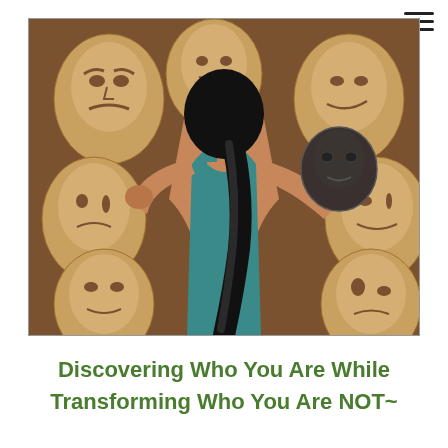[Figure (illustration): Digital illustration of a woman seen from behind with black hair in a ponytail, wearing a teal top, holding up a dark mask in front of her face. She is surrounded by multiple golden/tan theatrical face masks on a brown background, each displaying different emotions such as anger, sadness, and neutrality.]
Discovering Who You Are While Transforming Who You Are NOT~